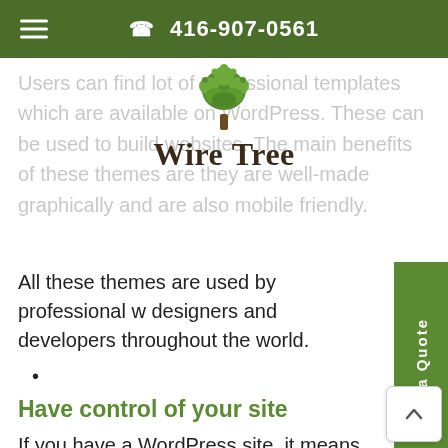☎ 416-907-0561
[Figure (logo): Wire Tree logo — stylized green tree above the text 'Wire Tree' in serif font]
Users can find lot of professional templates which are available on WordPress. These can be used to build websites. The main benefits of these themes are they are well-made graphically and are also mobile friendly.
All these themes are used by professional web designers and developers throughout the world.
Have control of your site
If you have a WordPress site, it means you have full control of your website's various elements such as content and URL name. You don't need to wait for any developer to make